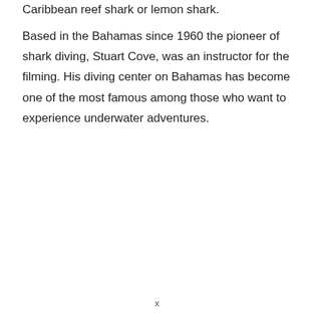Caribbean reef shark or lemon shark.
Based in the Bahamas since 1960 the pioneer of shark diving, Stuart Cove, was an instructor for the filming. His diving center on Bahamas has become one of the most famous among those who want to experience underwater adventures.
x